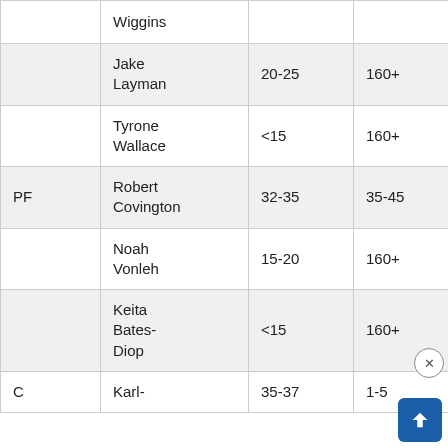| Position | Player | Salary Range | Contract |
| --- | --- | --- | --- |
|  | Wiggins |  |  |
|  | Jake Layman | 20-25 | 160+ |
|  | Tyrone Wallace | <15 | 160+ |
| PF | Robert Covington | 32-35 | 35-45 |
|  | Noah Vonleh | 15-20 | 160+ |
|  | Keita Bates-Diop | <15 | 160+ |
| C | Karl- | 35-37 | 1-5 |